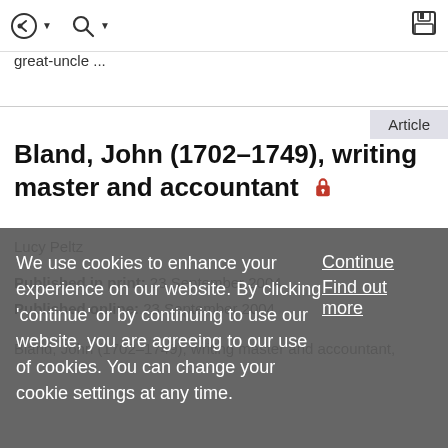Navigation toolbar with back, search, and save icons
great-uncle ...
Article
Bland, John (1702–1749), writing master and accountant
Lucy Peltz
Published in print: 23 September 2004
Published online: 23 September 2004
Bland, John (1702–1749), writing master and accountant,
We use cookies to enhance your experience on our website. By clicking 'continue' or by continuing to use our website, you are agreeing to our use of cookies. You can change your cookie settings at any time.